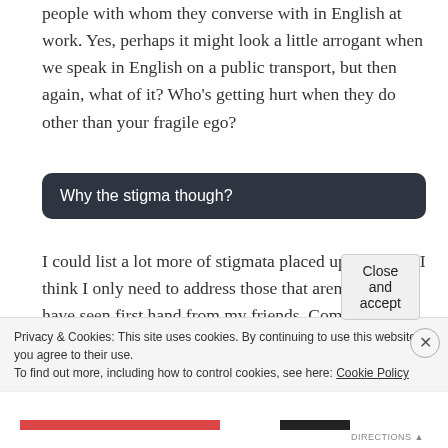people with whom they converse with in English at work. Yes, perhaps it might look a little arrogant when we speak in English on a public transport, but then again, what of it? Who's getting hurt when they do other than your fragile ego?
Why the stigma though?
I could list a lot more of stigmata placed upon us, but I think I only need to address those that aren't true as I have seen first hand from my friends. Come to think of it, a lot of people are not willing to work in call centers because they are afraid that they'll be stigmatized as these, but what they fail to see is the
Privacy & Cookies: This site uses cookies. By continuing to use this website, you agree to their use.
To find out more, including how to control cookies, see here: Cookie Policy